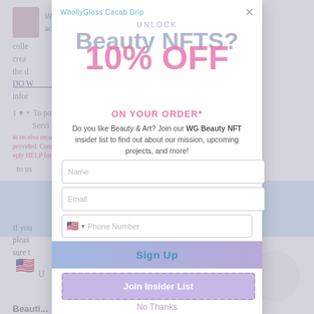[Figure (screenshot): Background webpage content partially visible behind modal overlay, showing greyed-out text about product/account information, a bullet list, pink marketing text, a blue bar, US flag icon, and a circle element.]
Beauty NFTS?
UNLOCK
10% OFF
ON YOUR ORDER*
Do you like Beauty & Art? Join our WG Beauty NFT insider list to find out about our mission, upcoming projects, and more!
Name
Email
Phone Number
Sign Up
Join Insider List
No Thanks